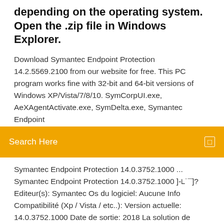depending on the operating system. Open the .zip file in Windows Explorer.
Download Symantec Endpoint Protection 14.2.5569.2100 from our website for free. This PC program works fine with 32-bit and 64-bit versions of Windows XP/Vista/7/8/10. SymCorpUI.exe, AeXAgentActivate.exe, SymDelta.exe, Symantec Endpoint
Search Here
Symantec Endpoint Protection 14.0.3752.1000 ... Symantec Endpoint Protection 14.0.3752.1000 ]‐˪˙¯]? Editeur(s): Symantec Os du logiciel: Aucune Info Compatibilité (Xp / Vista / etc..): Version actuelle: 14.0.3752.1000 Date de sortie: 2018 La solution de sécurité la plus avancée sur le marché pour les terminaux à partir d'un agent unique, grâce à ses fonctionnalités de prévention, de détection, d'intervention, de diversion Télécharger Norton Antivirus pour Windows : téléchargement ... Télécharger 32/64 bits Voir les offres à partir de 29.99 € par an